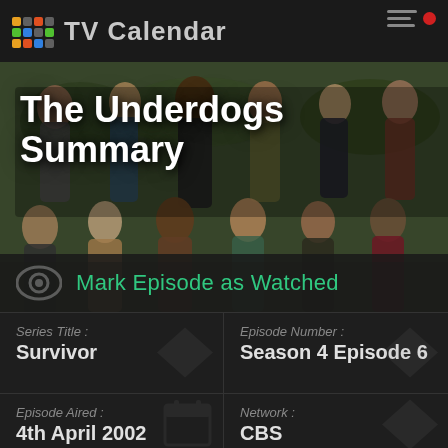TV Calendar
[Figure (screenshot): Hero image showing group of Survivor contestants outdoors with overlay text 'The Underdogs Summary']
The Underdogs Summary
Mark Episode as Watched
| Series Title : | Survivor | Episode Number : | Season 4 Episode 6 |
| Episode Aired : | 4th April 2002 | Network : | CBS |